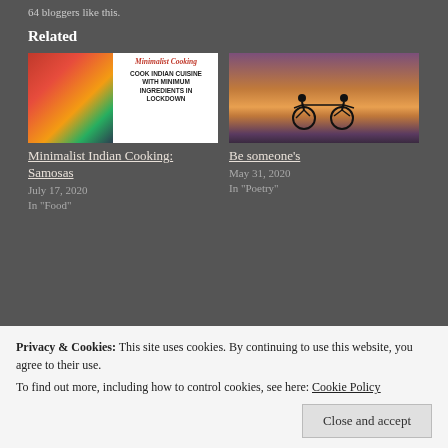64 bloggers like this.
Related
[Figure (photo): Book cover for Minimalist Cooking: Cook Indian Cuisine With Minimum Ingredients In Lockdown, with colorful vegetables on the left side]
Minimalist Indian Cooking: Samosas
July 17, 2020
In "Food"
[Figure (photo): Two silhouetted cyclists holding hands at sunset with dramatic orange and purple sky]
Be someone's
May 31, 2020
In "Poetry"
Privacy & Cookies: This site uses cookies. By continuing to use this website, you agree to their use.
To find out more, including how to control cookies, see here: Cookie Policy